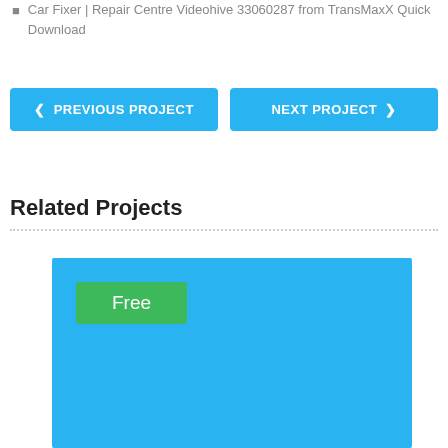Car Fixer | Repair Centre Videohive 33060287 from TransMaxX Quick Download
PREVIOUS PROJECT
NEXT PROJECT
Related Projects
[Figure (screenshot): Blue rectangle with a green 'Free' badge in the upper left corner]